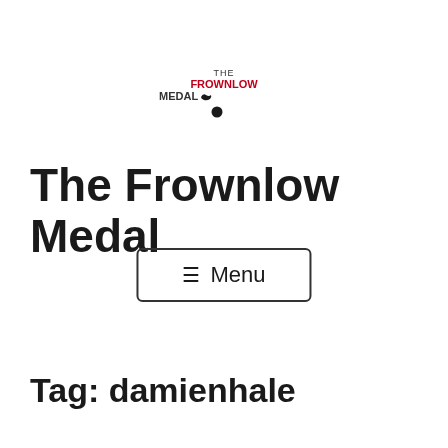[Figure (logo): The Frownlow Medal logo with red text FROWNLOW and a small bird/whale icon]
The Frownlow Medal
≡ Menu
Tag: damienhale